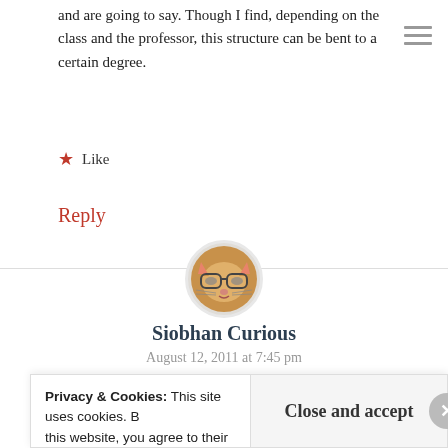and are going to say. Though I find, depending on the class and the professor, this structure can be bent to a certain degree.
★ Like
Reply
[Figure (photo): Circular avatar of a cat wearing glasses]
Siobhan Curious
August 12, 2011 at 7:45 pm
Privacy & Cookies: This site uses cookies. By continuing to use this website, you agree to their use. To find out more, including how to control cookies, see here: Cookie Policy
Close and accept